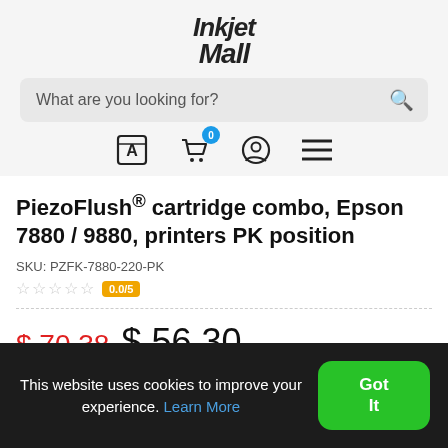[Figure (logo): InkjetMall logo in italic bold stylized text]
What are you looking for?
[Figure (infographic): Navigation icons: language/catalog icon, shopping cart with badge '0', user profile icon, hamburger menu icon]
PiezoFlush® cartridge combo, Epson 7880 / 9880, printers PK position
SKU: PZFK-7880-220-PK
☆☆☆☆☆ 0.0/5
$ 70.38  $ 56.30
This website uses cookies to improve your experience. Learn More